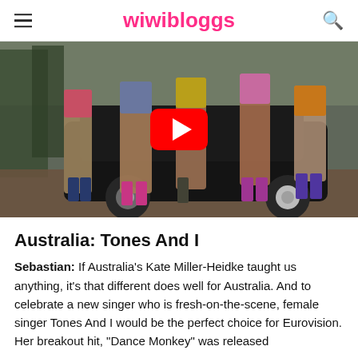wiwibloggs
[Figure (photo): YouTube video thumbnail showing several young women posing in colorful outfits beside a black vintage car, with a YouTube play button overlay in the center.]
Australia: Tones And I
Sebastian: If Australia's Kate Miller-Heidke taught us anything, it's that different does well for Australia. And to celebrate a new singer who is fresh-on-the-scene, female singer Tones And I would be the perfect choice for Eurovision. Her breakout hit, "Dance Monkey" was released